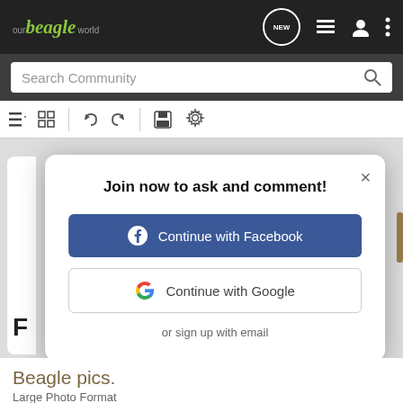[Figure (screenshot): Our Beagle World website navigation bar with logo and icons]
[Figure (screenshot): Search Community search bar]
[Figure (screenshot): Toolbar with list, grid, undo, redo, save, and settings icons]
[Figure (screenshot): Modal dialog: Join now to ask and comment! with Continue with Facebook and Continue with Google buttons, and or sign up with email link]
Beagle pics.
Large Photo Format